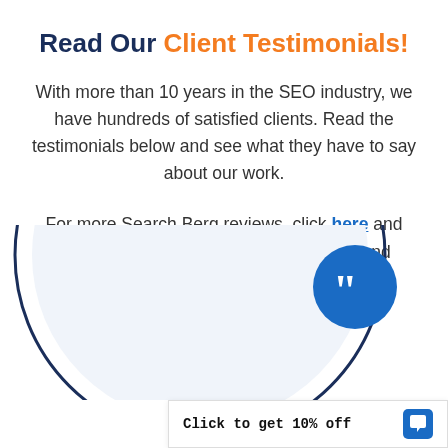Read Our Client Testimonials!
With more than 10 years in the SEO industry, we have hundreds of satisfied clients. Read the testimonials below and see what they have to say about our work.
For more Search Berg reviews, click here and also check us out our Google reviews and Sitejabber reviews.
[Figure (illustration): Partial circular graphic element with a dark navy border and light fill, with a blue circle containing a white quotation mark icon in the upper right. A white chat/discount banner at the bottom right reads 'Click to get 10% off' with a blue chat bubble icon.]